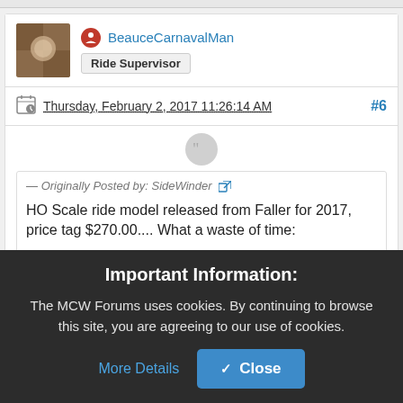BeauceCarnavalMan
Ride Supervisor
Thursday, February 2, 2017 11:26:14 AM #6
— Originally Posted by: SideWinder
HO Scale ride model released from Faller for 2017, price tag $270.00.... What a waste of time:
http://www.faller.de/App...terbahn-Alpina-
Important Information:
The MCW Forums uses cookies. By continuing to browse this site, you are agreeing to our use of cookies.
More Details
Close